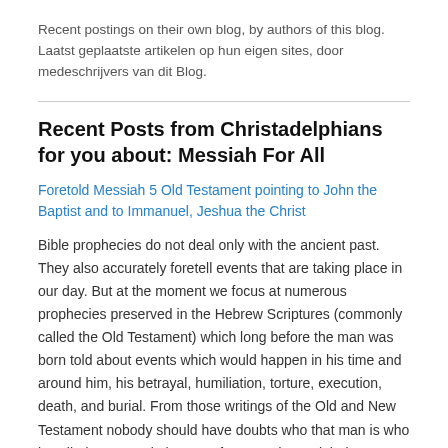Recent postings on their own blog, by authors of this blog. Laatst geplaatste artikelen op hun eigen sites, door medeschrijvers van dit Blog.
Recent Posts from Christadelphians for you about: Messiah For All
Foretold Messiah 5 Old Testament pointing to John the Baptist and to Immanuel, Jeshua the Christ
Bible prophecies do not deal only with the ancient past. They also accurately foretell events that are taking place in our day. But at the moment we focus at numerous prophecies preserved in the Hebrew Scriptures (commonly called the Old Testament) which long before the man was born told about events which would happen in his time and around him, his betrayal, humiliation, torture, execution, death, and burial. From those writings of the Old and New Testament nobody should have doubts who that man is who is called Immanuel, the son of man and Messiah, born out of the root of Jess in the tribe of king David